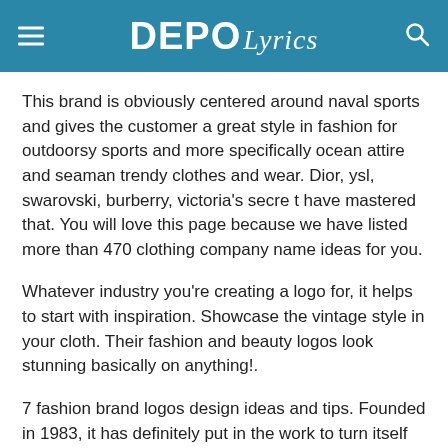DEPO Lyrics
This brand is obviously centered around naval sports and gives the customer a great style in fashion for outdoorsy sports and more specifically ocean attire and seaman trendy clothes and wear. Dior, ysl, swarovski, burberry, victoria's secre t have mastered that. You will love this page because we have listed more than 470 clothing company name ideas for you.
Whatever industry you're creating a logo for, it helps to start with inspiration. Showcase the vintage style in your cloth. Their fashion and beauty logos look stunning basically on anything!.
7 fashion brand logos design ideas and tips. Founded in 1983, it has definitely put in the work to turn itself into an international apparel brand brand with suitable design